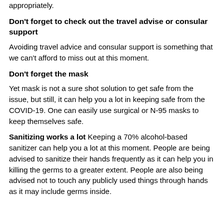appropriately.
Don't forget to check out the travel advise or consular support
Avoiding travel advice and consular support is something that we can't afford to miss out at this moment.
Don't forget the mask
Yet mask is not a sure shot solution to get safe from the issue, but still, it can help you a lot in keeping safe from the COVID-19. One can easily use surgical or N-95 masks to keep themselves safe.
Sanitizing works a lot Keeping a 70% alcohol-based sanitizer can help you a lot at this moment. People are being advised to sanitize their hands frequently as it can help you in killing the germs to a greater extent. People are also being advised not to touch any publicly used things through hands as it may include germs inside.